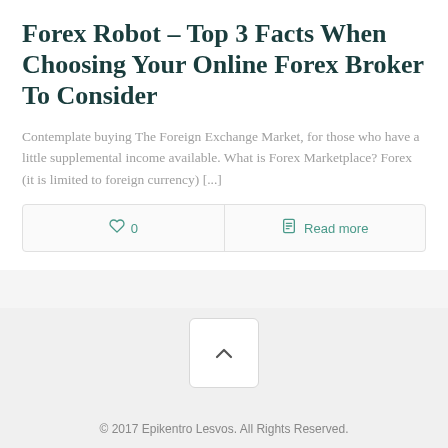Forex Robot – Top 3 Facts When Choosing Your Online Forex Broker To Consider
Contemplate buying The Foreign Exchange Market, for those who have a little supplemental income available. What is Forex Marketplace? Forex (it is limited to foreign currency) [...]
♡ 0   Read more
© 2017 Epikentro Lesvos. All Rights Reserved.